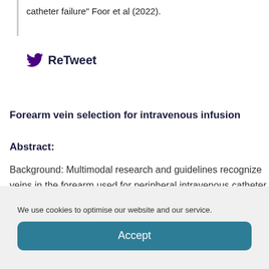catheter failure" Foor et al (2022).
ReTweet
Forearm vein selection for intravenous infusion
Abstract:
Background: Multimodal research and guidelines recognize veins in the forearm used for peripheral intravenous catheter
We use cookies to optimise our website and our service.
Accept